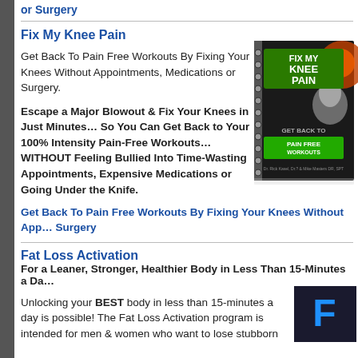or Surgery
Fix My Knee Pain
Get Back To Pain Free Workouts By Fixing Your Knees Without Appointments, Medications or Surgery.
Escape a Major Blowout & Fix Your Knees in Just Minutes… So You Can Get Back to Your 100% Intensity Pain-Free Workouts… WITHOUT Feeling Bullied Into Time-Wasting Appointments, Expensive Medications or Going Under the Knife.
[Figure (photo): Book cover for Fix My Knee Pain - Get Back To Pain Free Workouts, spiral-bound book with green and dark design]
Get Back To Pain Free Workouts By Fixing Your Knees Without Appointments, Medications or Surgery
Fat Loss Activation
For a Leaner, Stronger, Healthier Body in Less Than 15-Minutes a Day
Unlocking your BEST body in less than 15-minutes a day is possible! The Fat Loss Activation program is intended for men & women who want to lose stubborn
[Figure (photo): Partial view of Fat Loss Activation book cover, dark with blue letter F visible]